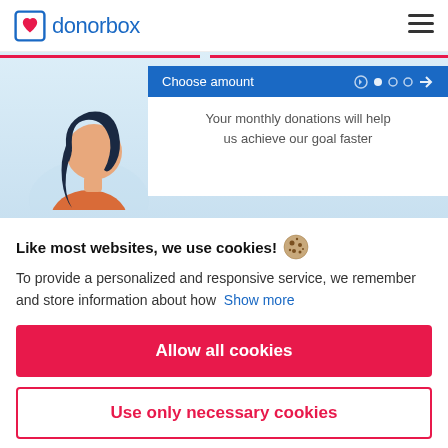donorbox
[Figure (screenshot): Donorbox website screenshot showing a donation widget with 'Choose amount' header in blue and text 'Your monthly donations will help us achieve our goal faster'. An illustrated woman with dark hair is visible on the left side of the banner.]
Like most websites, we use cookies!
To provide a personalized and responsive service, we remember and store information about how  Show more
Allow all cookies
Use only necessary cookies
More options